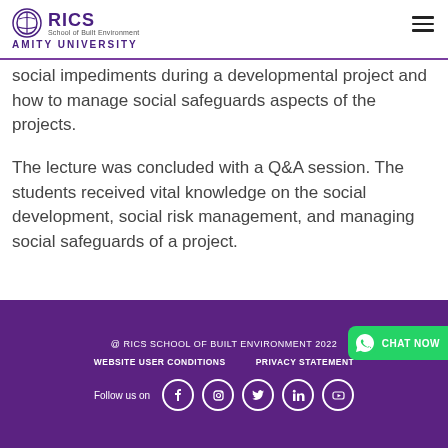RICS School of Built Environment – Amity University
social impediments during a developmental project and how to manage social safeguards aspects of the projects.
The lecture was concluded with a Q&A session. The students received vital knowledge on the social development, social risk management, and managing social safeguards of a project.
@ RICS SCHOOL OF BUILT ENVIRONMENT 2022 | WEBSITE USER CONDITIONS | PRIVACY STATEMENT | Follow us on [Facebook, Instagram, Twitter, LinkedIn, YouTube]